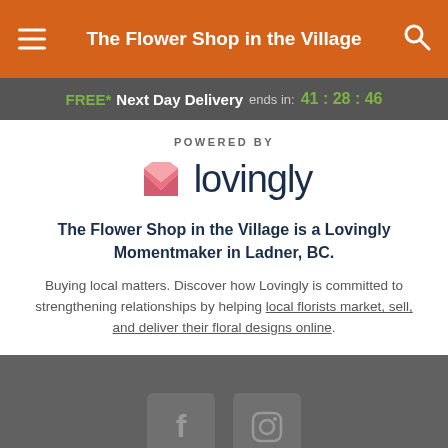The Flower Shop in the Village
FREE* Next Day Delivery ends in: 41:28:46
[Figure (logo): Lovingly logo with pink heart/envelope icon and 'lovingly' text in dark navy, preceded by 'POWERED BY' label]
The Flower Shop in the Village is a Lovingly Momentmaker in Ladner, BC.
Buying local matters. Discover how Lovingly is committed to strengthening relationships by helping local florists market, sell, and deliver their floral designs online.
[Figure (other): Social media icons: Facebook and Instagram square icons in gray]
Google Business Page